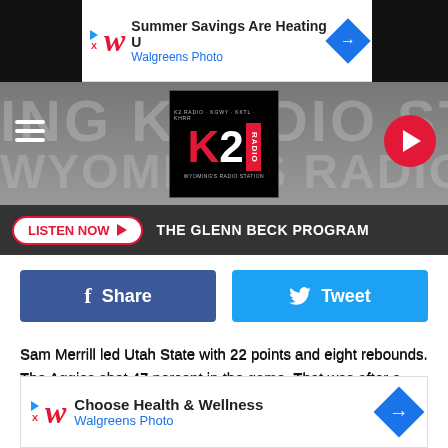[Figure (screenshot): Walgreens Photo advertisement banner at top: 'Summer Savings Are Heating U' with Walgreens logo]
[Figure (logo): K2 Radio logo - Wyoming's Radio Station - with hamburger menu and play button]
LISTEN NOW ▶  THE GLENN BECK PROGRAM
[Figure (screenshot): Facebook Share button (dark blue) and Twitter Tweet button (light blue)]
Sam Merrill led Utah State with 22 points and eight rebounds. The Aggies shot 47 percent in the game. That was after a slow start of 25 percent in the first 10 minutes and 0-9 from deep.
Bolstered by their defense, Wyoming got off to a good start and held a 16-8 lead midway through the first half. Late in the half, Ut
[Figure (screenshot): Walgreens Photo advertisement banner at bottom: 'Choose Health & Wellness' with Walgreens logo]